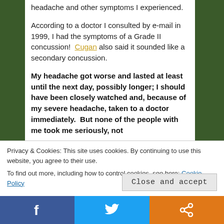headache and other symptoms I experienced.
According to a doctor I consulted by e-mail in 1999, I had the symptoms of a Grade II concussion!  Cugan also said it sounded like a secondary concussion.
My headache got worse and lasted at least until the next day, possibly longer; I should have been closely watched and, because of my severe headache, taken to a doctor immediately.  But none of the people with me took me seriously, not
Privacy & Cookies: This site uses cookies. By continuing to use this website, you agree to their use.
To find out more, including how to control cookies, see here: Cookie Policy
Close and accept